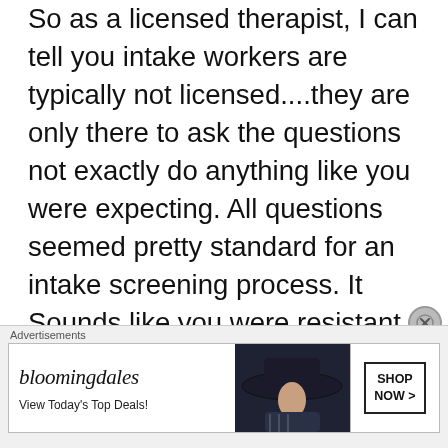So as a licensed therapist, I can tell you intake workers are typically not licensed....they are only there to ask the questions not exactly do anything like you were expecting. All questions seemed pretty standard for an intake screening process. It Sounds like you were resistant from the get go so it probably wasn't the best treatment for you. Hope you found what you were looking for. Also, I've had a client go there and it did take 6 months, which I
[Figure (other): Bloomingdale's advertisement banner: 'View Today's Top Deals!' with SHOP NOW > button and image of woman with wide-brim hat]